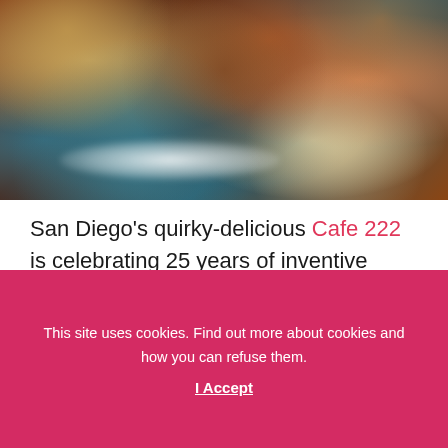[Figure (photo): Close-up photo of a dark chocolate brownie or baked good dusted with powdered sugar on a blue surface]
San Diego's quirky-delicious Cafe 222 is celebrating 25 years of inventive spins on American comfort classics, and this is a multiple-month party you don't want to miss.
This site uses cookies. Find out more about cookies and how you can refuse them. I Accept